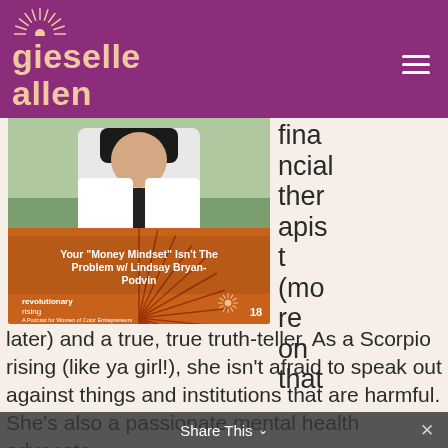gieselle allen
[Figure (photo): Podcast episode artwork for 'Revolutionary Rising' podcast showing a woman in a white jacket outdoors above an orange sunburst pattern. Episode title: Your "Money Mindset" Isn't The Problem w/ Lindsay Bryan-Podvin, Episode 18]
financial therapist (more on that later) and a true, true truth-teller. As a Scorpio rising (like ya girl!), she isn't afraid to speak out against things and institutions that are harmful. She's also a passionate mental health advocate.